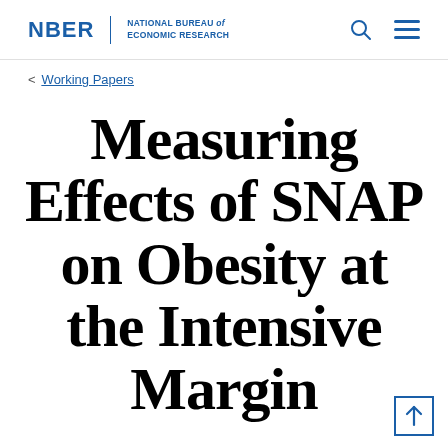NBER | NATIONAL BUREAU of ECONOMIC RESEARCH
< Working Papers
Measuring Effects of SNAP on Obesity at the Intensive Margin